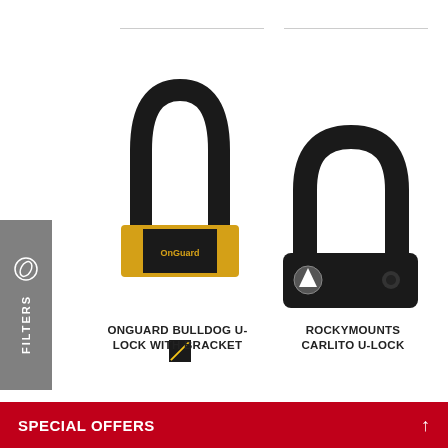[Figure (photo): OnGuard Bulldog U-Lock with bracket - black U-lock with yellow/gold locking mechanism base, black body with OnGuard branding]
[Figure (photo): RockyMounts Carlito U-Lock - all black compact U-lock with mountain logo on locking body]
ONGUARD BULLDOG U-LOCK WITH BRACKET
ROCKYMOUNTS CARLITO U-LOCK
SPECIAL OFFERS